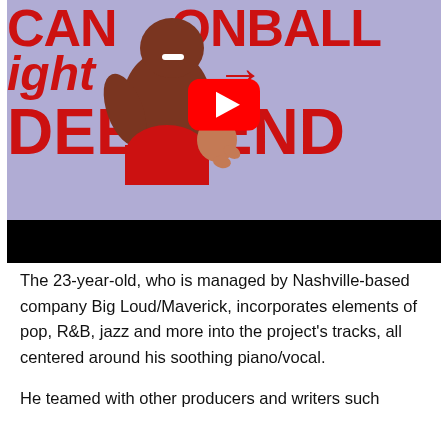[Figure (screenshot): YouTube video thumbnail showing animated illustration of a muscular man holding a baby, with red bold text reading 'CANNONBALL', 'right', 'DEEP END' on a purple/lavender background. A red YouTube play button is centered on the image. A black bar appears at the bottom of the video player.]
The 23-year-old, who is managed by Nashville-based company Big Loud/Maverick, incorporates elements of pop, R&B, jazz and more into the project's tracks, all centered around his soothing piano/vocal.
He teamed with other producers and writers such